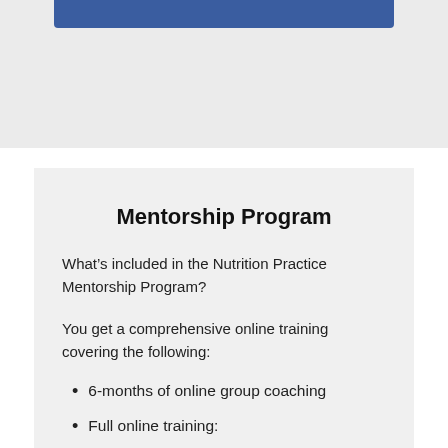Mentorship Program
What’s included in the Nutrition Practice Mentorship Program?
You get a comprehensive online training covering the following:
6-months of online group coaching
Full online training:
Business setup